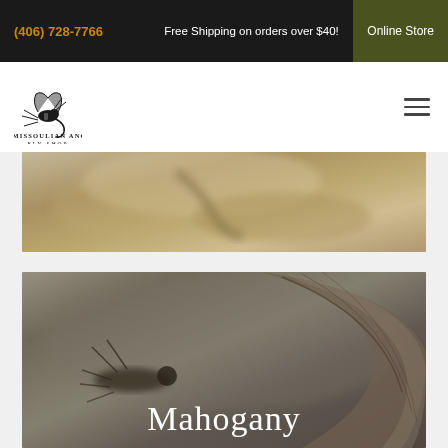(406) 728-7766  Free Shipping on orders over $40!  Online Store
[Figure (logo): The Missoulian Angler Fly Shop logo with a fly fishing lure illustration above the text]
[Figure (photo): Close-up blurred photo of a fishing fly or aquatic insect, warm tan/brown tones]
[Figure (photo): Close-up macro photo of a Mahogany mayfly insect with large curved wing visible, with text overlay reading 'Mahogany']